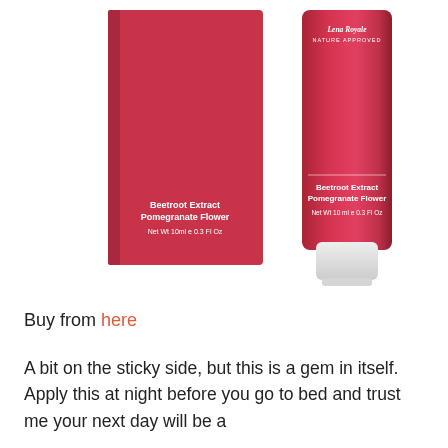[Figure (photo): Product photo of Lip Masque by Lena Royale (Nature Approved). Shows a red box and a red tube side by side. Both labeled 'LIP MASQUE', 'Beetroot Extract Pomegranate Flower', 'Net Wt 10ml e 0.3 Fl Oz'. The tube also reads 'Overnight Intensive Treatment'.]
Buy from here
A bit on the sticky side, but this is a gem in itself. Apply this at night before you go to bed and trust me your next day will be a